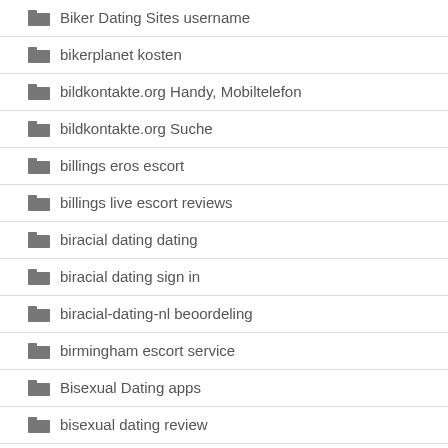Biker Dating Sites username
bikerplanet kosten
bildkontakte.org Handy, Mobiltelefon
bildkontakte.org Suche
billings eros escort
billings live escort reviews
biracial dating dating
biracial dating sign in
biracial-dating-nl beoordeling
birmingham escort service
Bisexual Dating apps
bisexual dating review